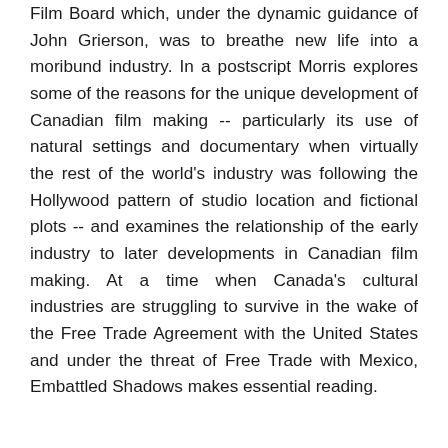Film Board which, under the dynamic guidance of John Grierson, was to breathe new life into a moribund industry. In a postscript Morris explores some of the reasons for the unique development of Canadian film making -- particularly its use of natural settings and documentary when virtually the rest of the world's industry was following the Hollywood pattern of studio location and fictional plots -- and examines the relationship of the early industry to later developments in Canadian film making. At a time when Canada's cultural industries are struggling to survive in the wake of the Free Trade Agreement with the United States and under the threat of Free Trade with Mexico, Embattled Shadows makes essential reading.